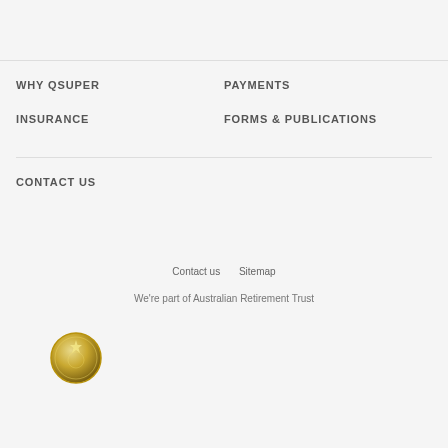WHY QSUPER
PAYMENTS
INSURANCE
FORMS & PUBLICATIONS
CONTACT US
Contact us   Sitemap
We're part of Australian Retirement Trust
[Figure (logo): Circular gold/bronze award badge or seal]